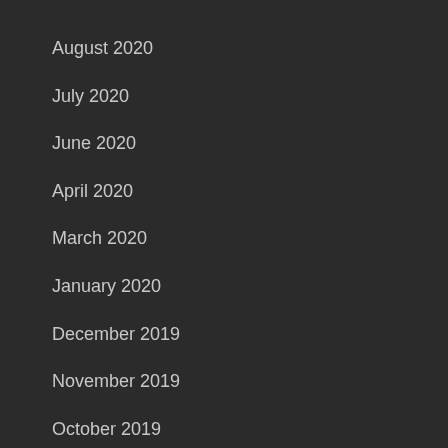August 2020
July 2020
June 2020
April 2020
March 2020
January 2020
December 2019
November 2019
October 2019
September 2019